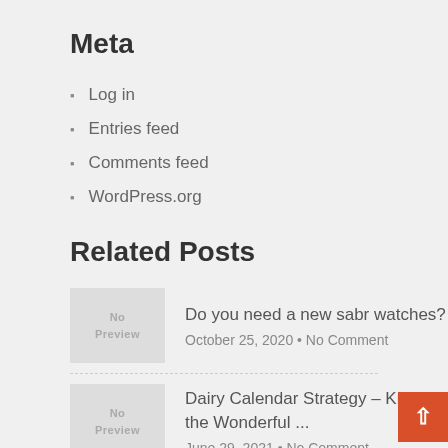Meta
Log in
Entries feed
Comments feed
WordPress.org
Related Posts
Do you need a new sabr watches?
October 25, 2020 • No Comment
Dairy Calendar Strategy – Know the Wonderful ...
June 29, 2021 • No Comment
Things to search in concrete nail